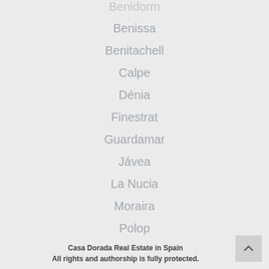Benidorm
Benissa
Benitachell
Calpe
Dénia
Finestrat
Guardamar
Jávea
La Nucia
Moraira
Polop
Torrevieja
Villajoyosa
Casa Dorada Real Estate in Spain
All rights and authorship is fully protected.